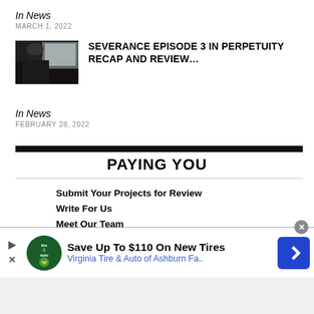In News
MARCH 1, 2022
[Figure (photo): A woman sitting in what appears to be an airplane or vehicle, looking to the side. Dark, moody still from TV show Severance.]
SEVERANCE EPISODE 3 IN PERPETUITY RECAP AND REVIEW…
In News
FEBRUARY 28, 2022
PAYING YOU
Submit Your Projects for Review
Write For Us
Meet Our Team
[Figure (infographic): Advertisement banner: Save Up To $110 On New Tires — Virginia Tire & Auto of Ashburn Fa.. with logo and navigation arrow icon]